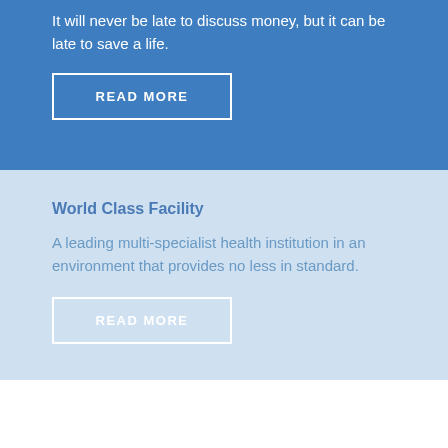It will never be late to discuss money, but it can be late to save a life.
READ MORE
World Class Facility
A leading multi-specialist health institution in an environment that provides no less in standard.
READ MORE